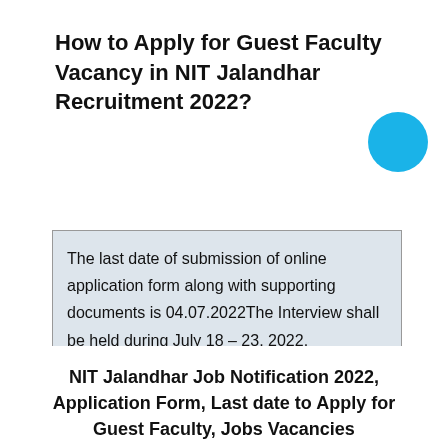How to Apply for Guest Faculty Vacancy in NIT Jalandhar Recruitment 2022?
The last date of submission of online application form along with supporting documents is 04.07.2022The Interview shall be held during July 18 – 23, 2022.
NIT Jalandhar Job Notification 2022, Application Form, Last date to Apply for Guest Faculty, Jobs Vacancies